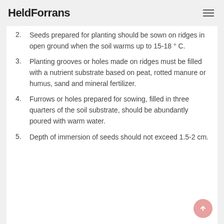HeldForrans
2. Seeds prepared for planting should be sown on ridges in open ground when the soil warms up to 15-18 ° C.
3. Planting grooves or holes made on ridges must be filled with a nutrient substrate based on peat, rotted manure or humus, sand and mineral fertilizer.
4. Furrows or holes prepared for sowing, filled in three quarters of the soil substrate, should be abundantly poured with warm water.
5. Depth of immersion of seeds should not exceed 1.5-2 cm.